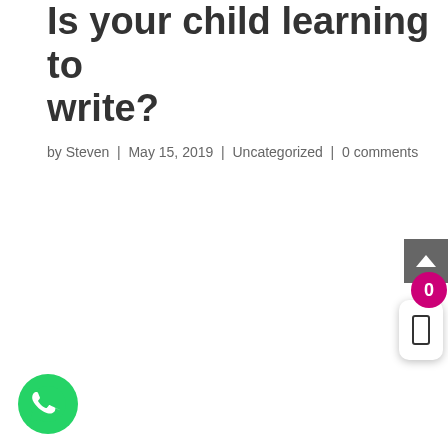Is your child learning to write?
by Steven | May 15, 2019 | Uncategorized | 0 comments